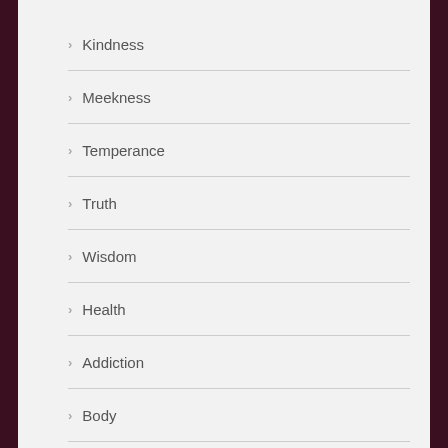Kindness
Meekness
Temperance
Truth
Wisdom
Health
Addiction
Body
Death
For Healthy Bones
Healing
Life